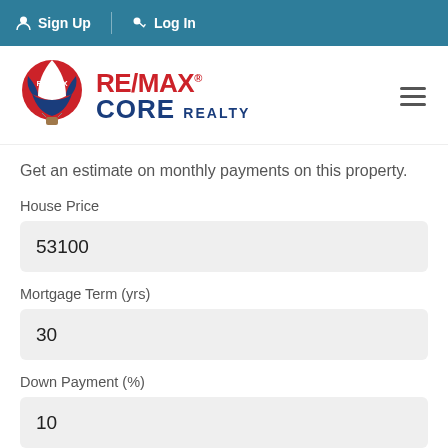Sign Up   Log In
[Figure (logo): RE/MAX Core Realty logo with hot air balloon icon and hamburger menu]
Get an estimate on monthly payments on this property.
House Price
53100
Mortgage Term (yrs)
30
Down Payment (%)
10